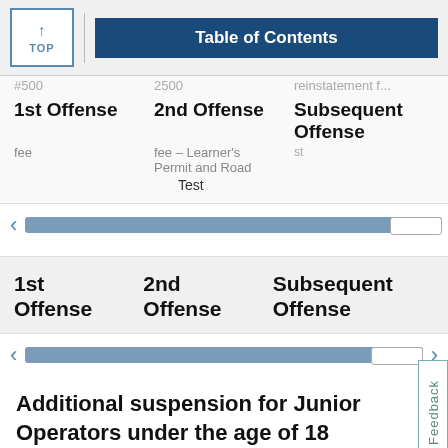TOP | Table of Contents
| 1st Offense | 2nd Offense | Subsequent Offense |
| --- | --- | --- |
| fee | fee – Learner's Permit and Road Test |  |
| 1st Offense | 2nd Offense | Subsequent Offense |
| --- | --- | --- |
Additional suspension for Junior Operators under the age of 18